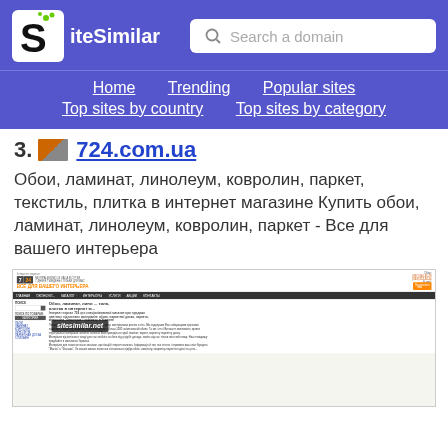[Figure (screenshot): SiteSimilar website header with logo and search bar on purple background]
Home   Trending   Popular sites   Top sites by country   Top sites by category
23. 724.com.ua
Обои, ламинат, линолеум, ковролин, паркет, текстиль, плитка в интернет магазине Купить обои, ламинат, линолеум, ковролин, паркет - Все для вашего интерьера
[Figure (screenshot): Screenshot of 724.com.ua website showing the home page with navigation, categories sidebar, and main content about flooring and wallpaper products with sitesimilar.net watermark overlay]